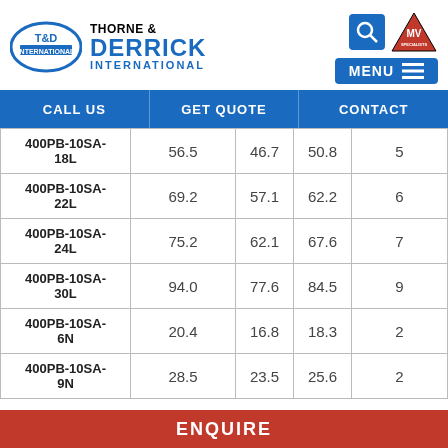[Figure (logo): T&D logo (Thorne & Derrick International) with MV Specialists triangle logo, search icon, and MENU button]
| CALL US | GET QUOTE | CONTACT |  |  |
| --- | --- | --- | --- | --- |
| 400PB-10SA-18L | 56.5 | 46.7 | 50.8 | 5 |
| 400PB-10SA-22L | 69.2 | 57.1 | 62.2 | 6 |
| 400PB-10SA-24L | 75.2 | 62.1 | 67.6 | 7 |
| 400PB-10SA-30L | 94.0 | 77.6 | 84.5 | 9 |
| 400PB-10SA-6N | 20.4 | 16.8 | 18.3 | 2 |
| 400PB-10SA-9N | 28.5 | 23.5 | 25.6 | 2 |
ENQUIRE